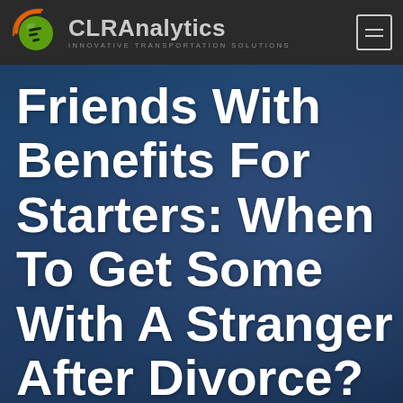CLRAnalytics — INNOVATIVE TRANSPORTATION SOLUTIONS
Friends With Benefits For Starters: When To Get Some With A Stranger After Divorce? – Steps For The Perfect